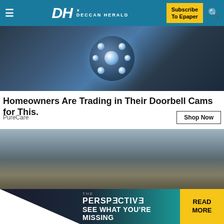Deccan Herald - Navigation bar with Subscribe To Epaper button
[Figure (photo): Close-up of a security camera with blue LED lights arranged in a circular pattern]
Homeowners Are Trading in Their Doorbell Cams for This.
PureCare
[Figure (photo): A house with a large pile of debris, trash, and miscellaneous items scattered across the front yard, with bare trees in the background]
[Figure (infographic): The Perspective banner - SEE WHAT YOU'RE MISSING - with READ MORE button]